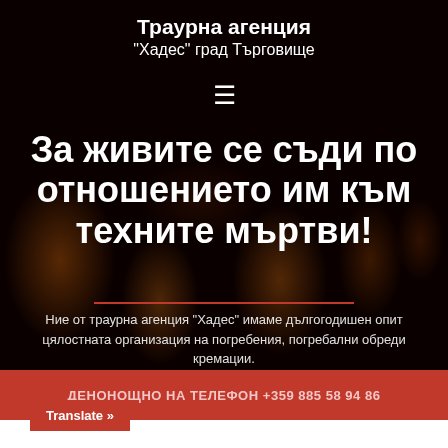Траурна агенция
"Хадес" град Търговище
[Figure (screenshot): Hamburger menu icon (three horizontal lines) on dark background]
За живите се съди по отношението им към техните мъртви!
Ние от траурна агенция "Хадес" имаме дългогодишен опит цялостната организация на погребения, погребални обреди кремации.
ДЕНОНОЩНО НА ТЕЛЕФОН +359 885 58 94 86
Translate »